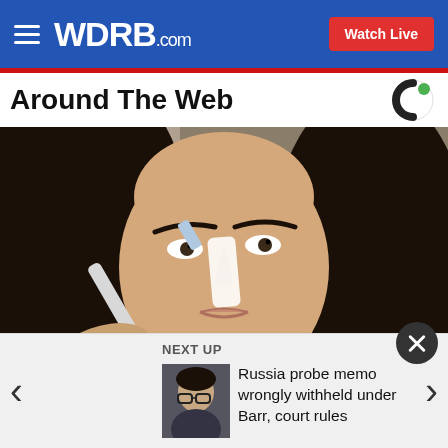WDRB.com — Watch Live
Around The Web
[Figure (photo): Close-up of a woman applying a white substance to her nose with a brush or applicator. She has long dark hair and is looking slightly to the side.]
NEXT UP
[Figure (photo): Small thumbnail image of a person wearing glasses]
Russia probe memo wrongly withheld under Barr, court rules